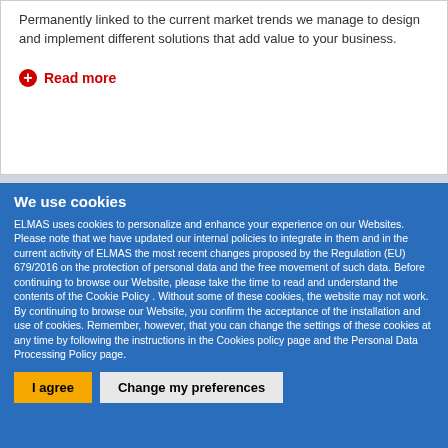Permanently linked to the current market trends we manage to design and implement different solutions that add value to your business.
Read more
We use cookies
ELMAS uses cookies to personalize and enhance your experience on our Websites. Please note that we have updated our internal policies to integrate in them and in the current activity of ELMAS the most recent changes proposed by the Regulation (EU) 679/2016 on the protection of personal data and the free movement of such data. Before continuing to browse our Website, please take the time to read and understand the contents of the Cookie Policy . Without some of these cookies, the website may not work. By continuing to browse our Website, you confirm the acceptance of the installation and use of cookies. Remember, however, that you can change the settings of these cookies at any time by following the instructions in the Cookies policy page and the Personal Data Processing Policy page.
I agree
Change my preferences